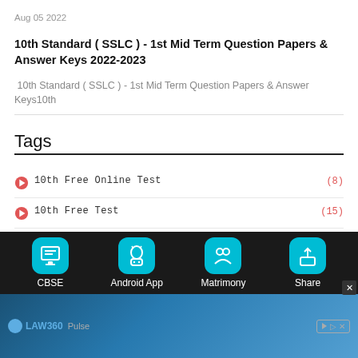Aug 05 2022
10th Standard ( SSLC ) - 1st Mid Term Question Papers & Answer Keys 2022-2023
10th Standard ( SSLC ) - 1st Mid Term Question Papers & Answer Keys10th
Tags
10th Free Online Test (8)
10th Free Test (15)
10th Half Yearly Exam Question Papers And Answer Keys Download (1)
[Figure (screenshot): Bottom navigation bar with CBSE, Android App, Matrimony, Share icons on dark background, and an advertisement banner for LAW360 Pulse below.]